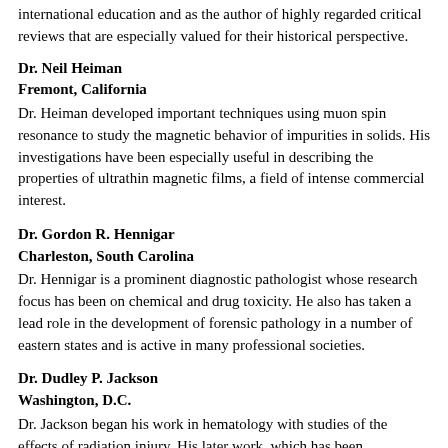international education and as the author of highly regarded critical reviews that are especially valued for their historical perspective.
Dr. Neil Heiman
Fremont, California
Dr. Heiman developed important techniques using muon spin resonance to study the magnetic behavior of impurities in solids. His investigations have been especially useful in describing the properties of ultrathin magnetic films, a field of intense commercial interest.
Dr. Gordon R. Hennigar
Charleston, South Carolina
Dr. Hennigar is a prominent diagnostic pathologist whose research focus has been on chemical and drug toxicity. He also has taken a lead role in the development of forensic pathology in a number of eastern states and is active in many professional societies.
Dr. Dudley P. Jackson
Washington, D.C.
Dr. Jackson began his work in hematology with studies of the effects of radiation injury. His later work, which has been recognized by a number of important awards, has concentrated on blood coagulation mechanisms and the role of platelets.
Dr. Sushila Navar